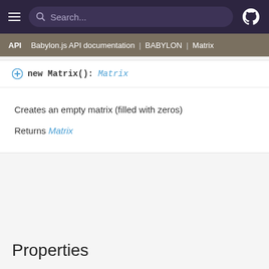Search...
API | Babylon.js API documentation | BABYLON | Matrix
new Matrix(): Matrix
Creates an empty matrix (filled with zeros)
Returns Matrix
Properties